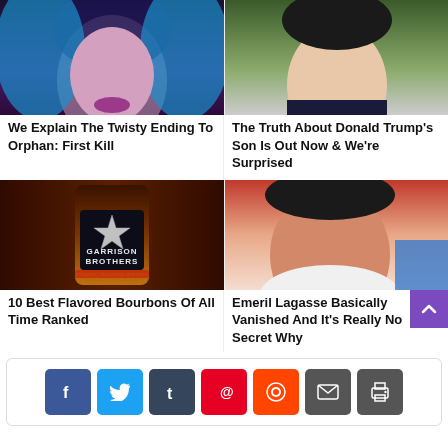[Figure (photo): Close-up of a person with blue hair and purple lipstick (Orphan: First Kill article image)]
We Explain The Twisty Ending To Orphan: First Kill
[Figure (photo): Close-up of a young man's face (Donald Trump's son article image)]
The Truth About Donald Trump's Son Is Out Now & We're Surprised
[Figure (photo): Garrison Brothers bourbon whiskey bottle with star logo]
10 Best Flavored Bourbons Of All Time Ranked
[Figure (photo): Close-up of Emeril Lagasse's face]
Emeril Lagasse Basically Vanished And It's Really No Secret Why
[Figure (infographic): Social media share buttons: Facebook, Twitter, Tumblr, Pinterest, Reddit, Email, Print]